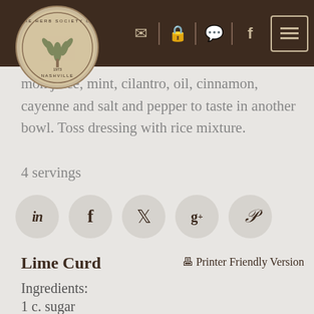The Herb Society of Nashville — navigation bar with logo and icons
mon juice, mint, cilantro, oil, cinnamon, cayenne and salt and pepper to taste in another bowl. Toss dressing with rice mixture.
4 servings
[Figure (other): Social sharing buttons: LinkedIn (in), Facebook (f), Twitter (bird), Google+ (g+), Pinterest (p)]
Lime Curd
Printer Friendly Version
Ingredients:
1 c. sugar